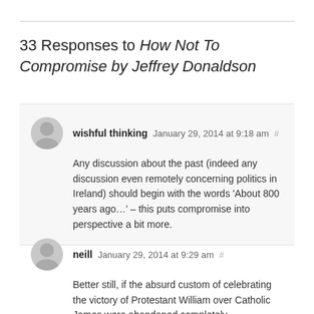33 Responses to How Not To Compromise by Jeffrey Donaldson
wishful thinking January 29, 2014 at 9:18 am # Any discussion about the past (indeed any discussion even remotely concerning politics in Ireland) should begin with the words ‘About 800 years ago…’ – this puts compromise into perspective a bit more.
neill January 29, 2014 at 9:29 am # Better still, if the absurd custom of celebrating the victory of Protestant William over Catholic James were abandoned completely